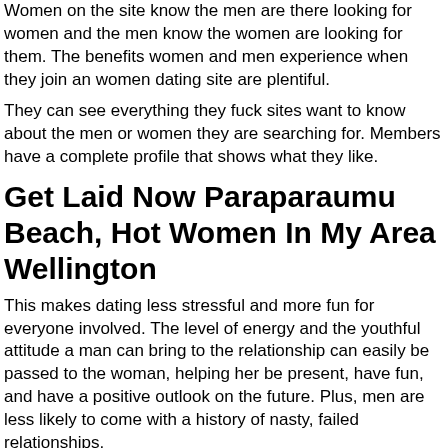Women on the site know the men are there looking for women and the men know the women are looking for them. The benefits women and men experience when they join an women dating site are plentiful.
They can see everything they fuck sites want to know about the men or women they are searching for. Members have a complete profile that shows what they like.
Get Laid Now Paraparaumu Beach, Hot Women In My Area Wellington
This makes dating less stressful and more fun for everyone involved. The level of energy and the youthful attitude a man can bring to the relationship can easily be passed to the woman, helping her be present, have fun, and have a positive outlook on the future. Plus, men are less likely to come with a history of nasty, failed relationships.
Find Local Sluts With Out Signing Up
Free Adult Dating In Istanbul
Gratis Adult Camdating
Fuckbuddy Australia Mature
Malefuckbuddy
Adult Sex Dating In Almira Washington